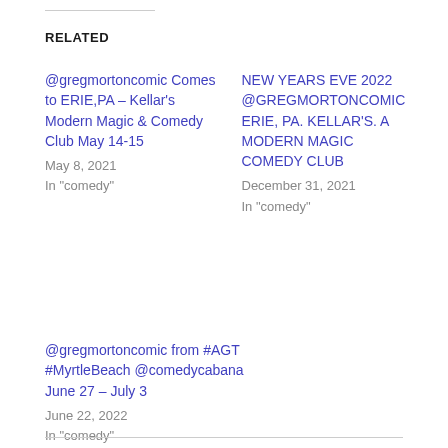RELATED
@gregmortoncomic Comes to ERIE,PA – Kellar's Modern Magic & Comedy Club May 14-15
May 8, 2021
In "comedy"
NEW YEARS EVE 2022 @GREGMORTONCOMIC ERIE, PA. KELLAR'S. A MODERN MAGIC COMEDY CLUB
December 31, 2021
In "comedy"
@gregmortoncomic from #AGT #MyrtleBeach @comedycabana June 27 – July 3
June 22, 2022
In "comedy"